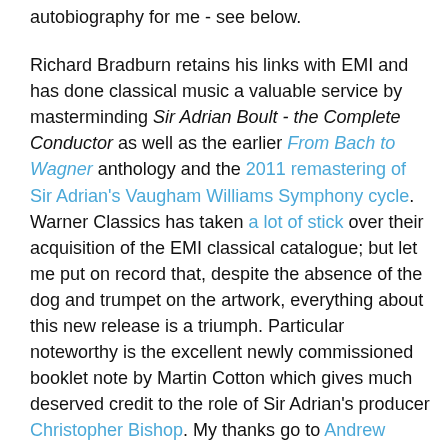autobiography for me - see below.

Richard Bradburn retains his links with EMI and has done classical music a valuable service by masterminding Sir Adrian Boult - the Complete Conductor as well as the earlier From Bach to Wagner anthology and the 2011 remastering of Sir Adrian's Vaugham Williams Symphony cycle. Warner Classics has taken a lot of stick over their acquisition of the EMI classical catalogue; but let me put on record that, despite the absence of the dog and trumpet on the artwork, everything about this new release is a triumph. Particular noteworthy is the excellent newly commissioned booklet note by Martin Cotton which gives much deserved credit to the role of Sir Adrian's producer Christopher Bishop. My thanks go to Andrew Ousley in Warner's New York office who flowed me a review copy. Andrew is one of a new generation emerging at the major record labels who realise that classical music needs to look to the past as well as to the future.